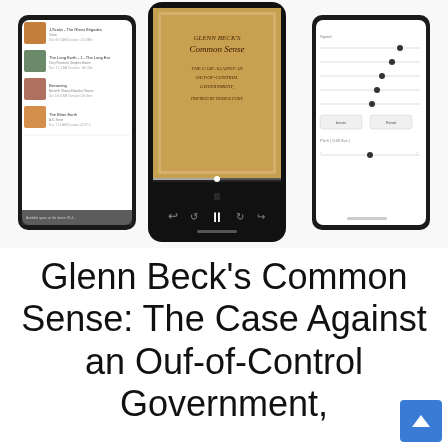[Figure (screenshot): Three smartphone screens displaying an audiobook app. Left phone shows a library list with audiobook titles including 'J. Scalzi - The Ghost Brigades', 'The Long Earth', 'Becoming' by Michelle Obama, and 'The Bitter Earth'. Center phone shows the audiobook cover for 'Glenn Beck's Common Sense: The Case Against an Out-of-Control Government, Inspired by Thomas Paine' with playback controls. Right phone shows audio settings with sliders for speed and pitch controls.]
Glenn Beck's Common Sense: The Case Against an Ouf-of-Control Government,